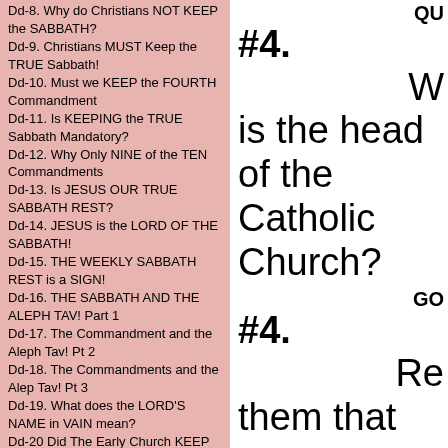Dd-8. Why do Christians NOT KEEP the SABBATH?
Dd-9. Christians MUST Keep the TRUE Sabbath!
Dd-10. Must we KEEP the FOURTH Commandment
Dd-11. Is KEEPING the TRUE Sabbath Mandatory?
Dd-12. Why Only NINE of the TEN Commandments
Dd-13. Is JESUS OUR TRUE SABBATH REST?
Dd-14. JESUS is the LORD OF THE SABBATH!
Dd-15. THE WEEKLY SABBATH REST is a SIGN!
Dd-16. THE SABBATH AND THE ALEPH TAV! Part 1
Dd-17. The Commandment and the Aleph Tav! Pt 2
Dd-18. The Commandments and the Alep Tav! Pt 3
Dd-19. What does the LORD'S NAME in VAIN mean?
Dd-20 Did The Early Church KEEP the Sabbath day
Dd-21. SABBATH-Saturday, Sunday, or NEITHER!
Dd-22. Was the Sabbath GIVEN at CREATION Week
Dd-23. What does MATTHEW 5:17,18 TRULY Mean?
Dd-24. Matthew 24:20 FUTURE Sabbath KEEPING!
Dd-25. What does REVELATION 22:14 TRULY Mean
Dd-26. Is the SABBATH DAY THE LORD'S DAY?
Dd-27. WAS JESUS RESURRECTED ON SUNDAY?
Dd-28. ARE THE SABBATH KEEPERS RIGHT?
Dd-29. Which COVENANT Must We OBEY? Part 2.
Dd-30. The Sabbath was NOT Abolished! Part 3.
Dd-31. Are You TWISTING the SCRIPTURES? Part 4
QU #4. W is the head of the Catholic Church?
GO #4. Re them that you are also a